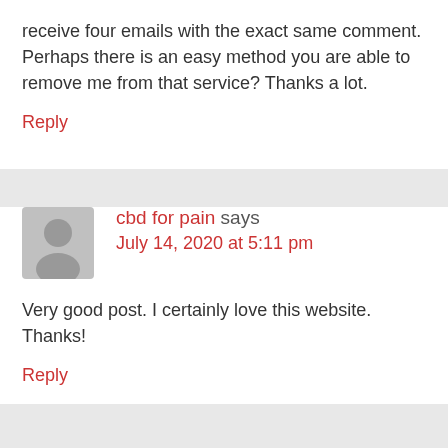receive four emails with the exact same comment. Perhaps there is an easy method you are able to remove me from that service? Thanks a lot.
Reply
cbd for pain says
July 14, 2020 at 5:11 pm
Very good post. I certainly love this website. Thanks!
Reply